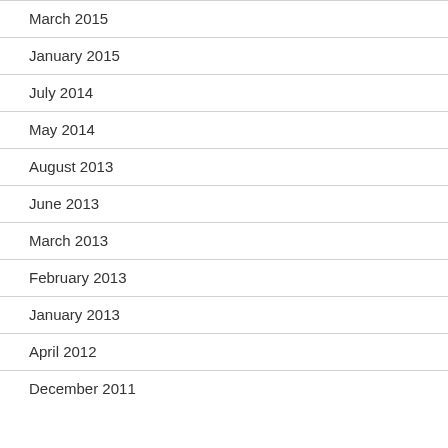March 2015
January 2015
July 2014
May 2014
August 2013
June 2013
March 2013
February 2013
January 2013
April 2012
December 2011